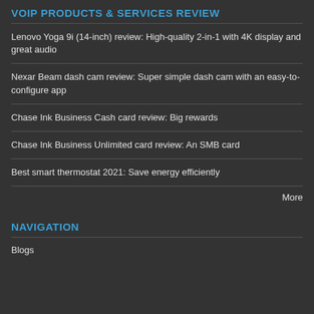VOIP PRODUCTS & SERVICES REVIEW
Lenovo Yoga 9i (14-inch) review: High-quality 2-in-1 with 4K display and great audio
Nexar Beam dash cam review: Super simple dash cam with an easy-to-configure app
Chase Ink Business Cash card review: Big rewards
Chase Ink Business Unlimited card review: An SMB card
Best smart thermostat 2021: Save energy efficiently
More
NAVIGATION
Blogs